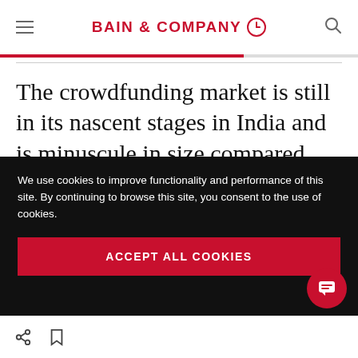BAIN & COMPANY
The crowdfunding market is still in its nascent stages in India and is minuscule in size compared with that of other countries, such as France, the UK, Canada, and the US. The estimated size of gross crowdfunding donations
We use cookies to improve functionality and performance of this site. By continuing to browse this site, you consent to the use of cookies.
ACCEPT ALL COOKIES